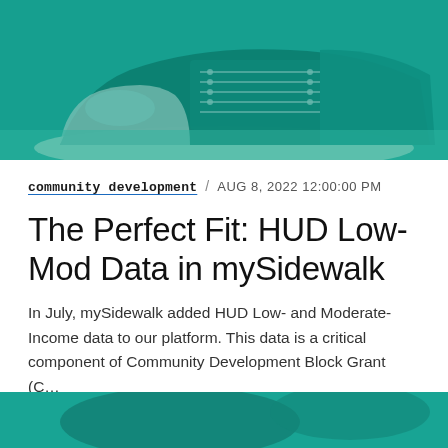[Figure (photo): Teal-tinted close-up photo of a Converse high-top sneaker on a textured surface]
community development  /  AUG 8, 2022 12:00:00 PM
The Perfect Fit: HUD Low-Mod Data in mySidewalk
In July, mySidewalk added HUD Low- and Moderate-Income data to our platform. This data is a critical component of Community Development Block Grant (C...
[Figure (photo): Bottom portion of a teal-tinted photo, partially visible at the bottom of the page]